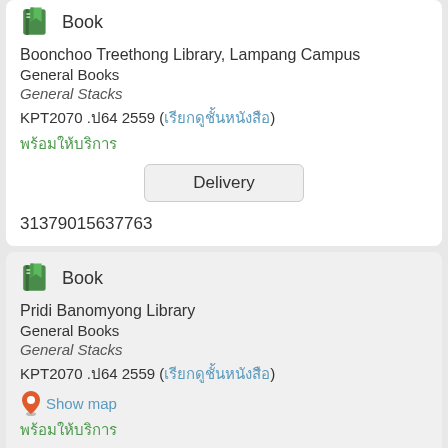Book
Boonchoo Treethong Library, Lampang Campus
General Books
General Stacks
KPT2070 .ป64 2559 (เรียกดูชั้นหนังสือ)
พร้อมให้บริการ
Delivery
31379015637763
Book
Pridi Banomyong Library
General Books
General Stacks
KPT2070 .ป64 2559 (เรียกดูชั้นหนังสือ)
Show map
พร้อมให้บริการ
Delivery